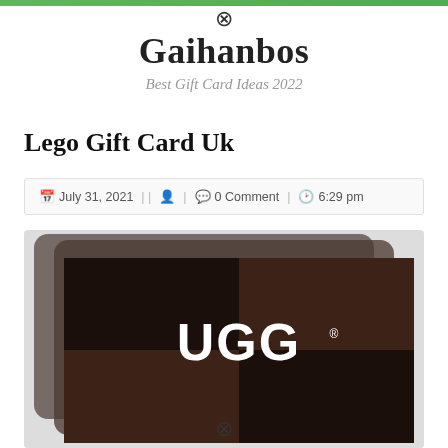Gaihanbos — Best Gift Card Ideas 2022
Lego Gift Card Uk
July 31, 2021 | | 0 Comment | 6:29 pm
[Figure (photo): UGG brand gift cards — two dark brown/black gift cards overlapping, with UGG logo in white on the front card]